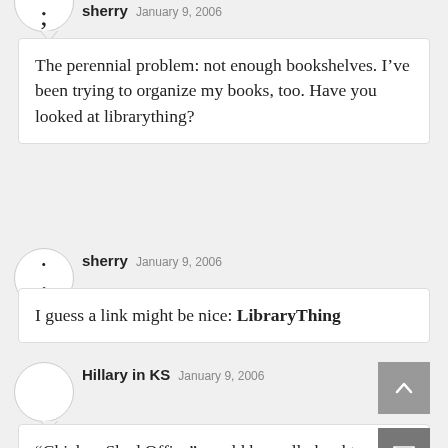sherry   January 9, 2006
The perennial problem: not enough bookshelves. I’ve been trying to organize my books, too. Have you looked at librarything?
sherry   January 9, 2006
I guess a link might be nice: LibraryThing
Hillary in KS   January 9, 2006
“Chicken Shed Office” would be really hard to say quick… At least, really hard to say without inadvertently cursing.